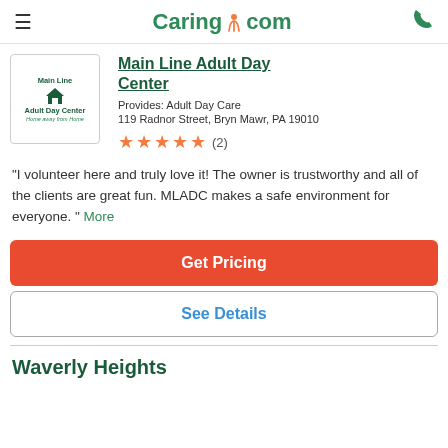Caring.com
Main Line Adult Day Center
Provides: Adult Day Care
119 Radnor Street, Bryn Mawr, PA 19010
★★★★★ (2)
"I volunteer here and truly love it! The owner is trustworthy and all of the clients are great fun. MLADC makes a safe environment for everyone. " More
Get Pricing
See Details
Waverly Heights